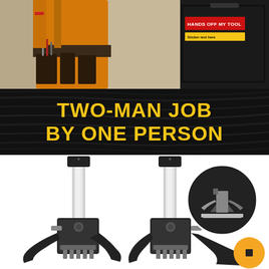[Figure (photo): A construction worker in orange overalls and tool belt standing next to a black toolbox with a red sticker reading 'HANDS OFF MY TOOL']
TWO-MAN JOB BY ONE PERSON
[Figure (photo): Two heavy-duty metal clamp tools with silver vertical posts and dark clamp bodies on white background, with a circular inset showing a close-up of the clamp base mechanism, and an orange circle badge in the lower right corner]